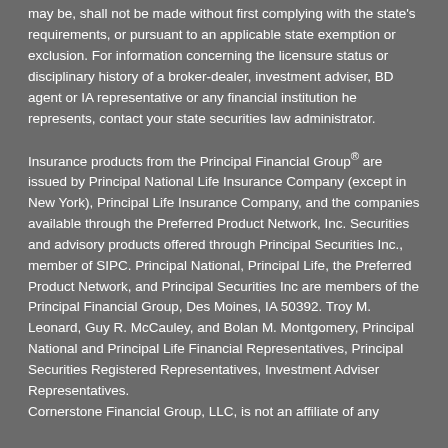may be, shall not be made without first complying with the state's requirements, or pursuant to an applicable state exemption or exclusion. For information concerning the licensure status or disciplinary history of a broker-dealer, investment adviser, BD agent or IA representative or any financial institution he represents, contact your state securities law administrator.
Insurance products from the Principal Financial Group® are issued by Principal National Life Insurance Company (except in New York), Principal Life Insurance Company, and the companies available through the Preferred Product Network, Inc. Securities and advisory products offered through Principal Securities Inc., member of SIPC. Principal National, Principal Life, the Preferred Product Network, and Principal Securities Inc are members of the Principal Financial Group, Des Moines, IA 50392. Troy M. Leonard, Guy R. McCauley, and Bolan M. Montgomery, Principal National and Principal Life Financial Representatives, Principal Securities Registered Representatives, Investment Adviser Representatives. Cornerstone Financial Group, LLC, is not an affiliate of any